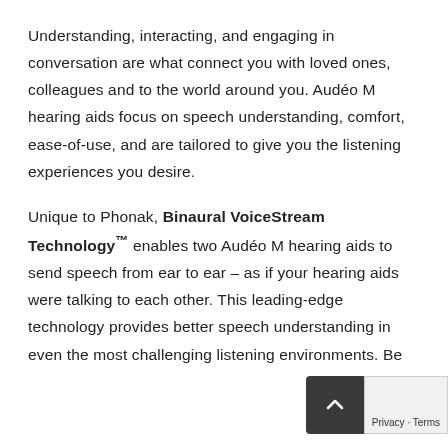Understanding, interacting, and engaging in conversation are what connect you with loved ones, colleagues and to the world around you. Audéo M hearing aids focus on speech understanding, comfort, ease-of-use, and are tailored to give you the listening experiences you desire.
Unique to Phonak, Binaural VoiceStream Technology™ enables two Audéo M hearing aids to send speech from ear to ear – as if your hearing aids were talking to each other. This leading-edge technology provides better speech understanding in even the most challenging listening environments. Be